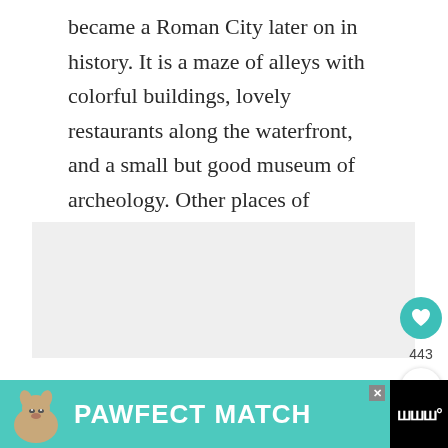became a Roman City later on in history. It is a maze of alleys with colorful buildings, lovely restaurants along the waterfront, and a small but good museum of archeology. Other places of interest include the ethnographic museum and a fort.
[Figure (photo): Light grey placeholder image area]
[Figure (infographic): Advertisement banner at bottom: PAWFECT MATCH with dog image on teal/black background]